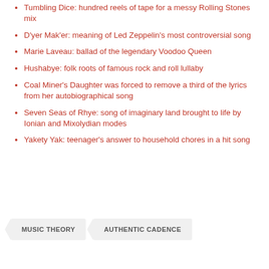Tumbling Dice: hundred reels of tape for a messy Rolling Stones mix
D'yer Mak'er: meaning of Led Zeppelin's most controversial song
Marie Laveau: ballad of the legendary Voodoo Queen
Hushabye: folk roots of famous rock and roll lullaby
Coal Miner's Daughter was forced to remove a third of the lyrics from her autobiographical song
Seven Seas of Rhye: song of imaginary land brought to life by Ionian and Mixolydian modes
Yakety Yak: teenager's answer to household chores in a hit song
MUSIC THEORY
AUTHENTIC CADENCE